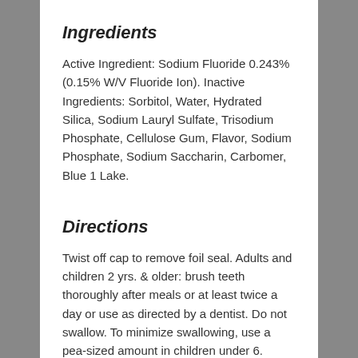Ingredients
Active Ingredient: Sodium Fluoride 0.243% (0.15% W/V Fluoride Ion). Inactive Ingredients: Sorbitol, Water, Hydrated Silica, Sodium Lauryl Sulfate, Trisodium Phosphate, Cellulose Gum, Flavor, Sodium Phosphate, Sodium Saccharin, Carbomer, Blue 1 Lake.
Directions
Twist off cap to remove foil seal. Adults and children 2 yrs. & older: brush teeth thoroughly after meals or at least twice a day or use as directed by a dentist. Do not swallow. To minimize swallowing, use a pea-sized amount in children under 6. Supervise children's brushing until good habits are